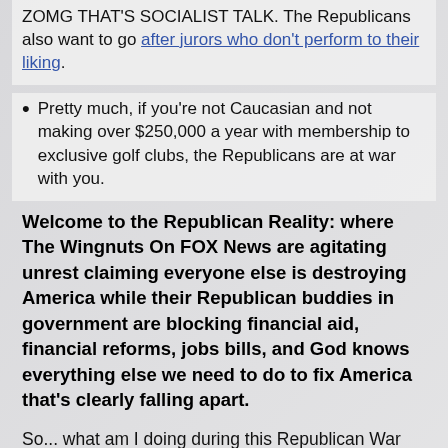ZOMG THAT'S SOCIALIST TALK. The Republicans also want to go after jurors who don't perform to their liking.
Pretty much, if you're not Caucasian and not making over $250,000 a year with membership to exclusive golf clubs, the Republicans are at war with you.
Welcome to the Republican Reality: where The Wingnuts On FOX News are agitating unrest claiming everyone else is destroying America while their Republican buddies in government are blocking financial aid, financial reforms, jobs bills, and God knows everything else we need to do to fix America that's clearly falling apart.
So... what am I doing during this Republican War On America?
For starters, I'm gonna do everything in my power to keep Republicans out of office.  I'm not voting for a single one at any level.  Period.  Even if there are sensible Republicans on the ballot who would otherwise be